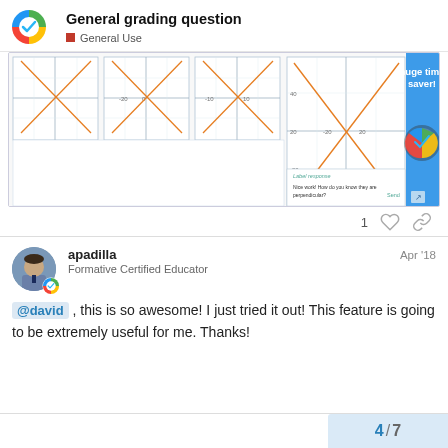General grading question — General Use
[Figure (screenshot): Screenshot of a math graphing tool showing perpendicular lines on coordinate grids, with a 'huge time saver!' promotional banner featuring the Formative logo on the right side.]
1
apadilla   Apr '18
Formative Certified Educator
@david , this is so awesome! I just tried it out! This feature is going to be extremely useful for me. Thanks!